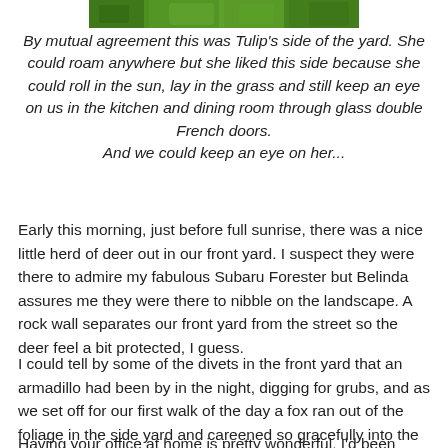[Figure (photo): Partial photo showing green foliage/grass at top of page]
By mutual agreement this was Tulip's side of the yard. She could roam anywhere but she liked this side because she could roll in the sun, lay in the grass and still keep an eye on us in the kitchen and dining room through glass double French doors.
And we could keep an eye on her...
Early this morning, just before full sunrise, there was a nice little herd of deer out in our front yard. I suspect they were there to admire my fabulous Subaru Forester but Belinda assures me they were there to nibble on the landscape. A rock wall separates our front yard from the street so the deer feel a bit protected, I guess.
I could tell by some of the divets in the front yard that an armadillo had been by in the night, digging for grubs, and as we set off for our first walk of the day a fox ran out of the foliage in the side yard and careened so gracefully into the neighbor's yard, and disappeared.
Having your office at home is pretty wonderful, I'd been